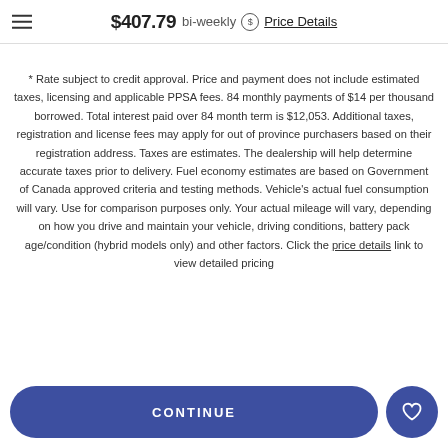$407.79 bi-weekly Price Details
* Rate subject to credit approval. Price and payment does not include estimated taxes, licensing and applicable PPSA fees. 84 monthly payments of $14 per thousand borrowed. Total interest paid over 84 month term is $12,053. Additional taxes, registration and license fees may apply for out of province purchasers based on their registration address. Taxes are estimates. The dealership will help determine accurate taxes prior to delivery. Fuel economy estimates are based on Government of Canada approved criteria and testing methods. Vehicle's actual fuel consumption will vary. Use for comparison purposes only. Your actual mileage will vary, depending on how you drive and maintain your vehicle, driving conditions, battery pack age/condition (hybrid models only) and other factors. Click the price details link to view detailed pricing
CONTINUE